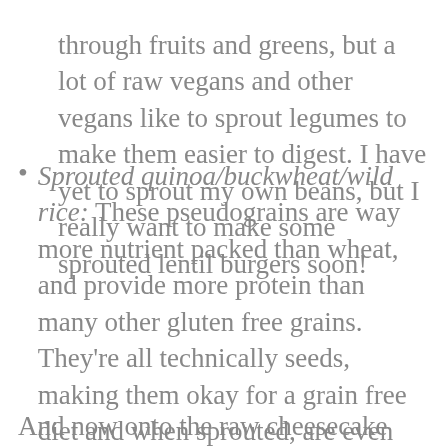through fruits and greens, but a lot of raw vegans and other vegans like to sprout legumes to make them easier to digest. I have yet to sprout my own beans, but I really want to make some sprouted lentil burgers soon!
Sprouted quinoa/buckwheat/wild rice: These pseudograins are way more nutrient packed than wheat, and provide more protein than many other gluten free grains. They're all technically seeds, making them okay for a grain free diet and when sprouted, are even easier to digest. I like sprouted quinoa for salads, and I usually soak raw buckwheat groats before I make them into granola in the dehydrator.
And now onto the raw cheesecake recipe! I don't have a picture for it right now, but mine looks a lot